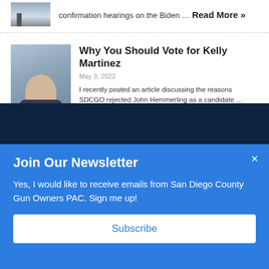confirmation hearings on the Biden … Read More »
Why You Should Vote for Kelly Martinez
May 3, 2022
I recently posted an article discussing the reasons SDCGO rejected John Hemmerling as a candidate …
Read More »
Join Our Newsletter
Yes, I would like to receive emails from San Diego County Gun Owners PAC. Sign me up!
Subscribe